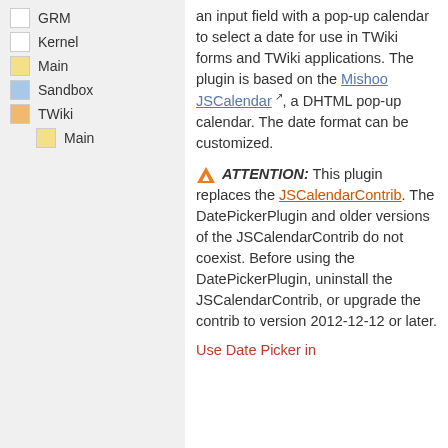GRM
Kernel
Main
Sandbox
TWiki
Main
an input field with a pop-up calendar to select a date for use in TWiki forms and TWiki applications. The plugin is based on the Mishoo JSCalendar, a DHTML pop-up calendar. The date format can be customized.
ATTENTION: This plugin replaces the JSCalendarContrib. The DatePickerPlugin and older versions of the JSCalendarContrib do not coexist. Before using the DatePickerPlugin, uninstall the JSCalendarContrib, or upgrade the contrib to version 2012-12-12 or later.
Use Date Picker in